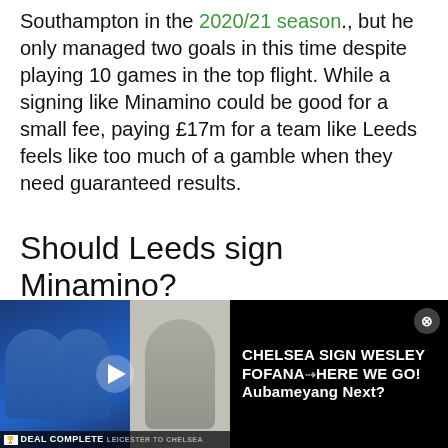Southampton in the 2020/21 season., but he only managed two goals in this time despite playing 10 games in the top flight. While a signing like Minamino could be good for a small fee, paying £17m for a team like Leeds feels like too much of a gamble when they need guaranteed results.
Should Leeds sign Minamino?
| Yes | No |
| --- | --- |
| [image] | [image] |
[Figure (screenshot): Video overlay at bottom: Chelsea sign Wesley Fofana - Here We Go! Aubameyang Next? with thumbnail showing players in Chelsea kit and a presenter]